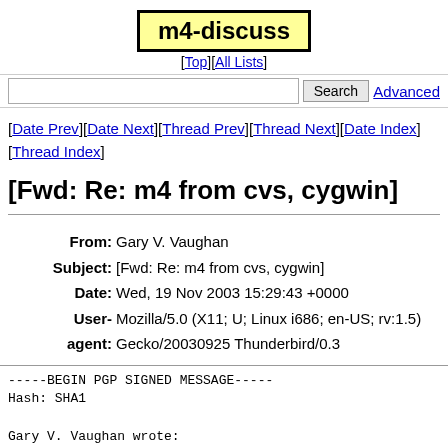m4-discuss
[Top][All Lists]
Search  Advanced
[Date Prev][Date Next][Thread Prev][Thread Next][Date Index][Thread Index]
[Fwd: Re: m4 from cvs, cygwin]
From: Gary V. Vaughan
Subject: [Fwd: Re: m4 from cvs, cygwin]
Date: Wed, 19 Nov 2003 15:29:43 +0000
User- Mozilla/5.0 (X11; U; Linux i686; en-US; rv:1.5)
agent: Gecko/20030925 Thunderbird/0.3
-----BEGIN PGP SIGNED MESSAGE-----
Hash: SHA1

Gary V. Vaughan wrote:
|
| | ---------------
| | When I configured using --enable-static --disable-sha
| |